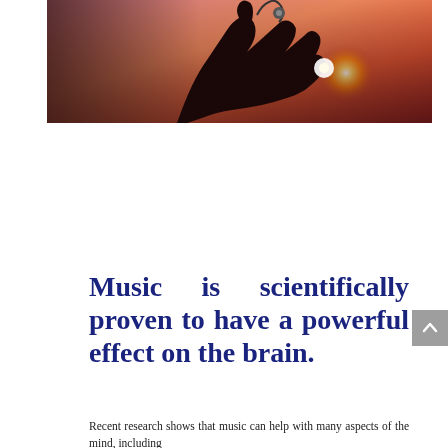[Figure (photo): A close-up photograph of a hand holding earphones/headphones against a warm sunset background with orange and red tones, with light flare visible.]
Music is scientifically proven to have a powerful effect on the brain.
Recent research shows that music can help with many aspects of the mind, including